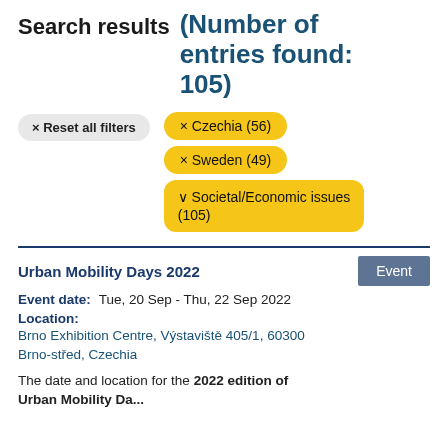Search results (Number of entries found: 105)
× Reset all filters
× Czechia (56)
× Sweden (49)
∨ Societal/Economic issues (105)
Urban Mobility Days 2022
Event
Event date:   Tue, 20 Sep - Thu, 22 Sep 2022
Location:
Brno Exhibition Centre, Výstaviště 405/1, 60300 Brno-střed, Czechia
The date and location for the 2022 edition of Urban Mobility Da...